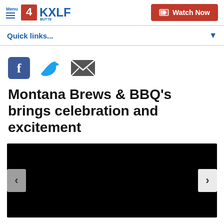Menu | 4KXLF Butte | Watch Now
Quick links...
[Figure (other): Social sharing icons: Facebook, Twitter, Email]
Montana Brews & BBQ's brings celebration and excitement
[Figure (photo): Dark/black image placeholder with left and right navigation arrows for an image carousel]